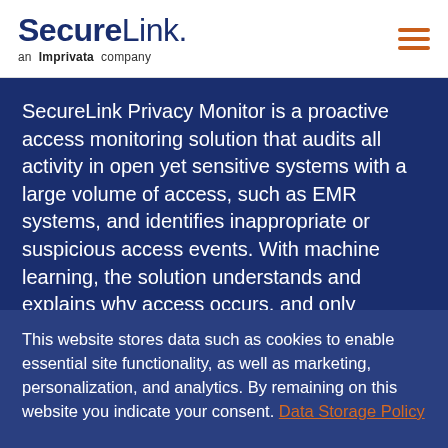SecureLink. an Imprivata company
SecureLink Privacy Monitor is a proactive access monitoring solution that audits all activity in open yet sensitive systems with a large volume of access, such as EMR systems, and identifies inappropriate or suspicious access events. With machine learning, the solution understands and explains why access occurs, and only identifies the access events that truly it
This website stores data such as cookies to enable essential site functionality, as well as marketing, personalization, and analytics. By remaining on this website you indicate your consent. Data Storage Policy